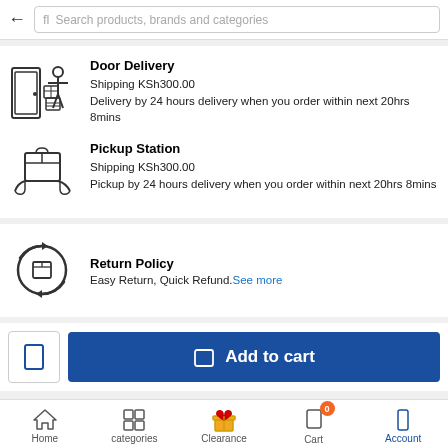Search products, brands and categories
Door Delivery
Shipping KSh300.00
Delivery by 24 hours delivery when you order within next 20hrs 8mins
Pickup Station
Shipping KSh300.00
Pickup by 24 hours delivery when you order within next 20hrs 8mins
Return Policy
Easy Return, Quick Refund. See more
Add to cart
Home | categories | Clearance | Cart 0 | Account